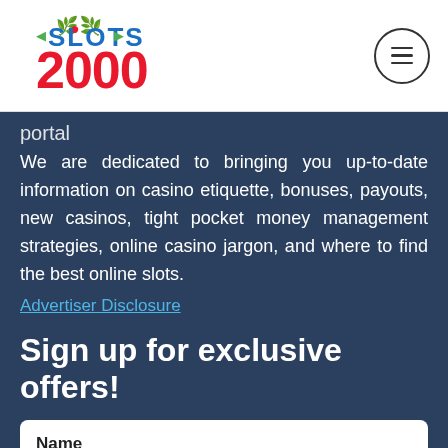[Figure (logo): Slots 2000 logo with green leaves and red cherry/apple motif]
portal
We are dedicated to bringing you up-to-date information on casino etiquette, bonuses, payouts, new casinos, tight pocket money management strategies, online casino jargon, and where to find the best online slots.
Advertiser Disclosure
Sign up for exclusive offers!
Name